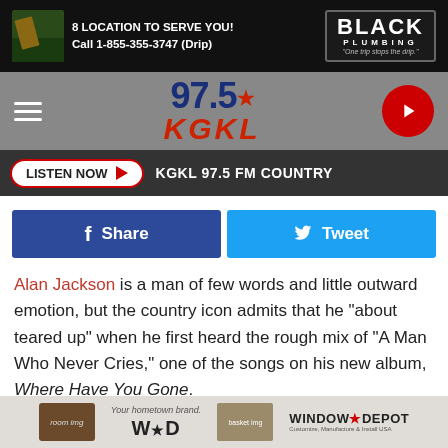[Figure (other): Black Plumbing advertisement banner: '8 LOCATION TO SERVE YOU! Call 1-855-355-3747 (Drip)' with Black Plumbing logo and tagline 'One trip stops the drip.']
[Figure (logo): 97.5 KGKL radio station header with hamburger menu icon, station logo (97.5 star KGKL), and red circular play button]
[Figure (other): Listen Now bar with red/white button and text 'KGKL 97.5 FM COUNTRY']
[Figure (other): Social sharing buttons: blue Facebook Share button and cyan Twitter Tweet button]
Alan Jackson is a man of few words and little outward emotion, but the country icon admits that he "about teared up" when he first heard the rough mix of "A Man Who Never Cries," one of the songs on his new album, Where Have You Gone.
Jackson was in his truck when his producer, Keith Steagall,
[Figure (other): Window Depot advertisement banner: 'Your hometown brand.' with WAD logo and Window Depot branding]